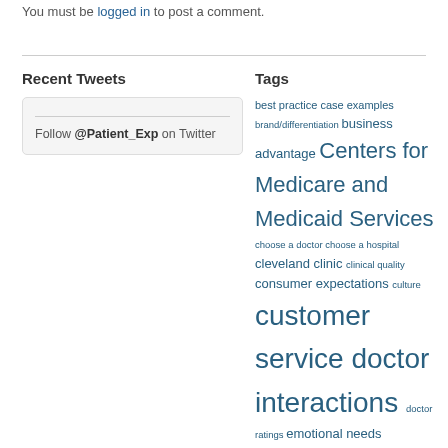You must be logged in to post a comment.
Recent Tweets
Follow @Patient_Exp on Twitter
Tags
best practice case examples brand/differentiation business advantage Centers for Medicare and Medicaid Services choose a doctor choose a hospital cleveland clinic clinical quality consumer expectations culture customer service doctor interactions doctor ratings emotional needs empathy empowered patients EMR electronic medical records engagement HCAHPS hospital ammenities hospital ratings hospitals internet technology leadership online ratings online